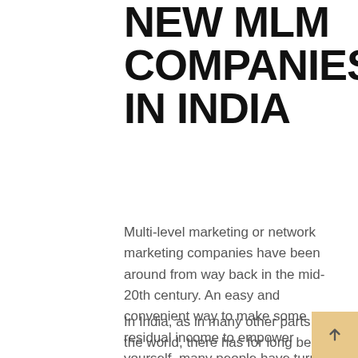NEW MLM COMPANIES IN INDIA
Multi-level marketing or network marketing companies have been around from way back in the mid-20th century. An easy and convenient way to make some residual income to empower yourself, many people have turned to network marketing as a full-time career and earned handsomely.
In India, as in many other parts of the world, there has for long been a debate about whether MLM companies are truly the...